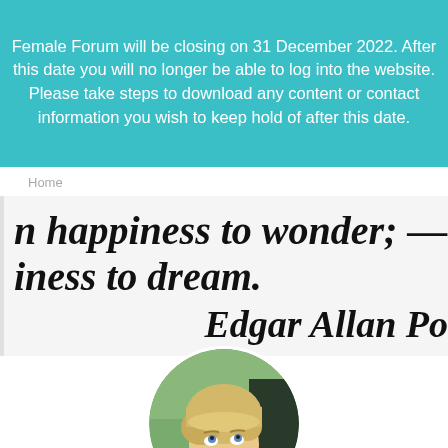Female Forum will be closing on 31 December 2022. After this date you will no longer be able to log into the website. Please take steps to download any content or contact information you wish to keep hold of after this date.
Home
n happiness to wonder; -- it is iness to dream.
Edgar Allan Po
[Figure (photo): Circular profile photo of a person with short blonde hair looking upward, photographed in a car.]